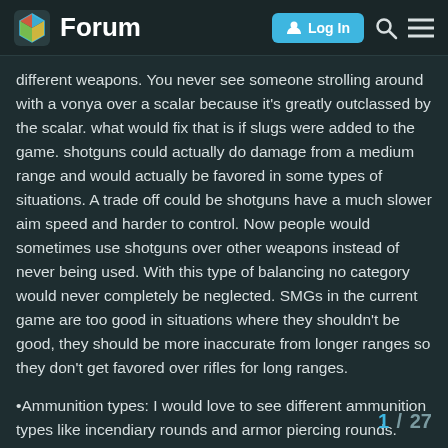Forum | Log In
different weapons. You never see someone strolling around with a vonya over a scalar because it's greatly outclassed by the scalar. what would fix that is if slugs were added to the game. shotguns could actually do damage from a medium range and would actually be favored in some types of situations. A trade off could be shotguns have a much slower aim speed and harder to control. Now people would sometimes use shotguns over other weapons instead of never being used. With this type of balancing no category would never completely be neglected. SMGs in the current game are too good in situations where they shouldn't be good, they should be more inaccurate from longer ranges so they don't get favored over rifles for long ranges.
•Ammunition types: I would love to see different ammunition types like incendiary rounds and armor piercing rounds. Different ammunition types could be rarer than others and have trade offs. Incendiary rounds can be bad at armor piercing but is favored for softer targets. Armor piercing ro range because they lose speed and speec
1 / 27